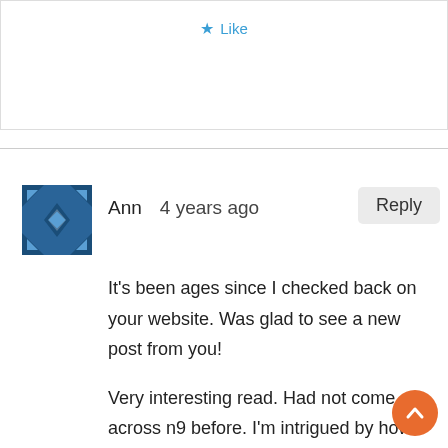[Figure (other): Like button with star icon at top of page]
[Figure (illustration): User avatar icon — blue geometric diamond/star pattern in rounded square]
Ann   4 years ago
Reply
It's been ages since I checked back on your website. Was glad to see a new post from you!

Very interesting read. Had not come across n9 before. I'm intrigued by how strongly they seem to have debuted with different models and